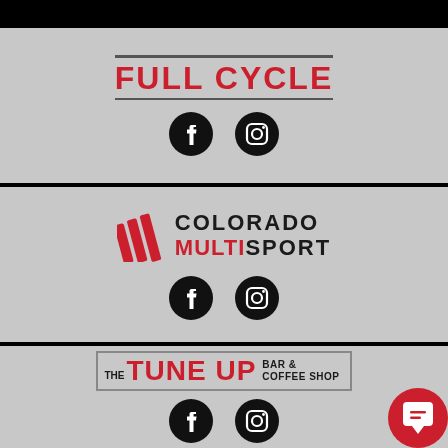[Figure (logo): Full Cycle logo with text FULL CYCLE in bold red uppercase with horizontal lines above and below, plus Facebook and Instagram icons]
[Figure (logo): Colorado Multisport logo with red diagonal stripes and text COLORADO MULTISPORT, plus Facebook and Instagram icons]
[Figure (logo): The Tune Up Bar & Coffee Shop logo in a bordered box with bold red text, plus Facebook and Instagram icons]